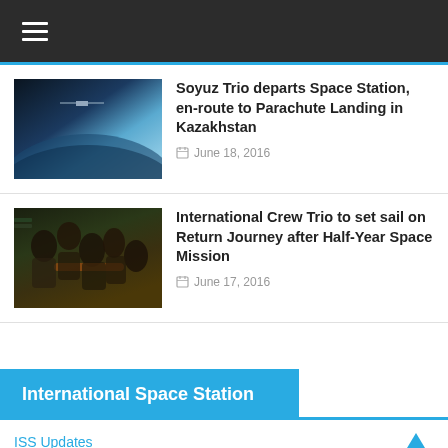Navigation menu (hamburger icon)
Soyuz Trio departs Space Station, en-route to Parachute Landing in Kazakhstan
June 18, 2016
International Crew Trio to set sail on Return Journey after Half-Year Space Mission
June 17, 2016
International Space Station
ISS Updates
ISS Payloads & Experiments